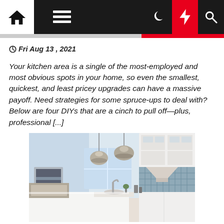Navigation bar with home, menu, moon, lightning, and search icons
Fri Aug 13 , 2021
Your kitchen area is a single of the most-employed and most obvious spots in your home, so even the smallest, quickest, and least pricey upgrades can have a massive payoff. Need strategies for some spruce-ups to deal with? Below are four DIYs that are a cinch to pull off—plus, professional [...]
[Figure (photo): Bright modern white kitchen with two hanging silver pendant lights, white cabinets, blue tile backsplash, marble countertops, and a framed artwork on the wall.]